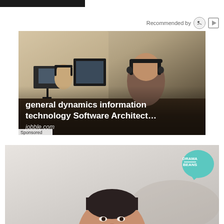Recommended by
[Figure (photo): Advertisement photo showing two office workers wearing headphones sitting at computers. Text overlay reads: 'general dynamics information technology Software Architect… jobble.com'. Sponsored label at bottom left.]
[Figure (photo): Photo of an Asian woman with short dark hair, mouth open as if speaking, in front of a light grey/white background. Drama Beans logo (teal speech bubble) in upper right corner.]